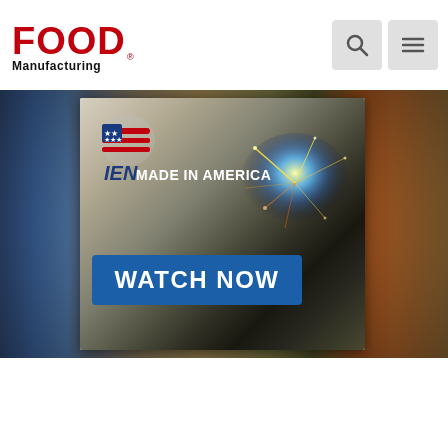[Figure (logo): Food Manufacturing logo — bold red FOOD text with Manufacturing below in black]
[Figure (screenshot): IEN Made in America advertisement banner with 'WATCH NOW' button, showing industrial/manufacturing imagery with sparks, overlaid on full-width background of food manufacturing and industrial parts]